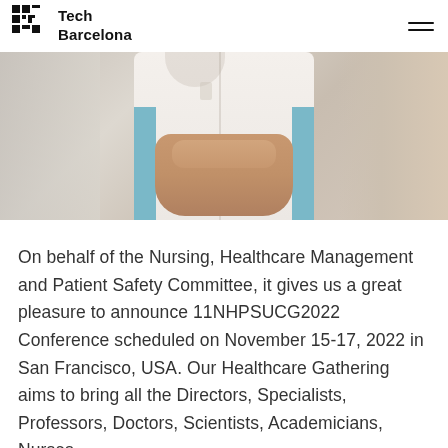Tech Barcelona
[Figure (photo): Close-up photo of a healthcare professional in a white coat with hands clasped together, blurred hospital background]
On behalf of the Nursing, Healthcare Management and Patient Safety Committee, it gives us a great pleasure to announce 11NHPSUCG2022 Conference scheduled on November 15-17, 2022 in San Francisco, USA. Our Healthcare Gathering aims to bring all the Directors, Specialists, Professors, Doctors, Scientists, Academicians, Nurses,